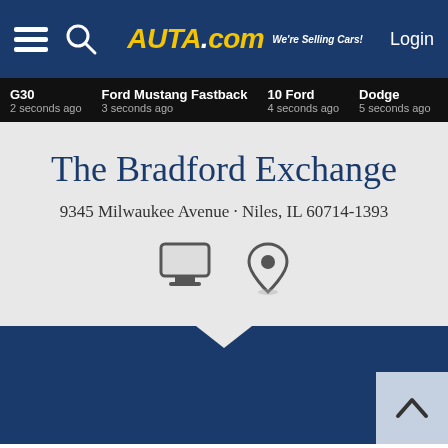AUTA.com We're Selling Cars! Login
G30 2 seconds ago | Ford Mustang Fastback 3 seconds ago | 10 Ford 4 seconds ago | Dodge 5 seconds ago | Whit 7 seconds
The Bradford Exchange
9345 Milwaukee Avenue · Niles, IL 60714-1393
The Bradford Exchange · 0 cars for sale